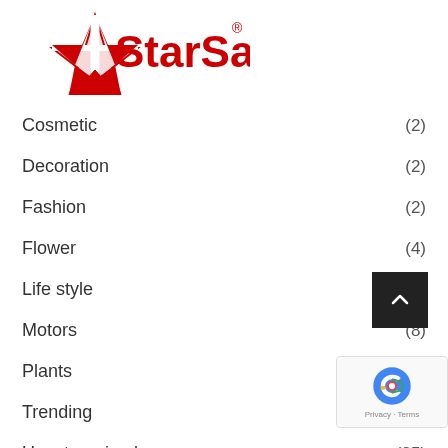[Figure (logo): StarSat logo with red star graphic and red text 'StarSat' with registered trademark symbol]
Cosmetic (2)
Decoration (2)
Fashion (2)
Flower (4)
Life style (12)
Motors (8)
Plants (2)
Trending
Uncategorized (25)